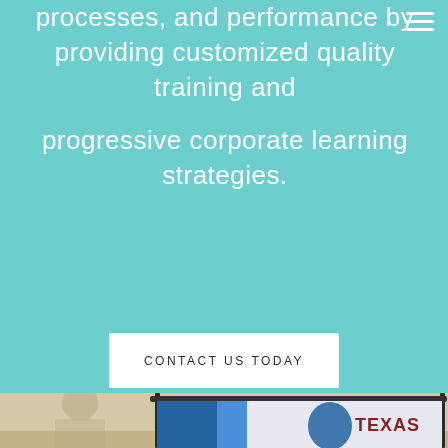processes, and performance by providing customized quality training and progressive corporate learning strategies.
CONTACT US TODAY
[Figure (photo): Photo of a presentation setup with a pull-up banner showing a Texas logo and branding, in an indoor room setting.]